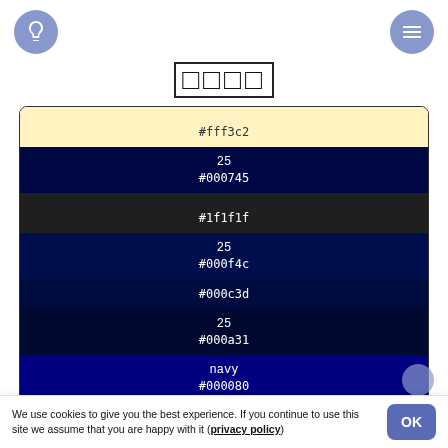Lightbulb icon (left) and menu icon (right)
□□□□
| Col1 | Col2 | Col3 |
| --- | --- | --- |
| #fff3c2 | 25 #000745 | #1f1f1f |
| 25 #000f4c | #000c3d | 25 #000a31 |
| navy #000080 | 25 #061037 | HTML: midnightblue #191970 |
□□□□□□
□□□□
We use cookies to give you the best experience. If you continue to use this site we assume that you are happy with it (privacy policy)